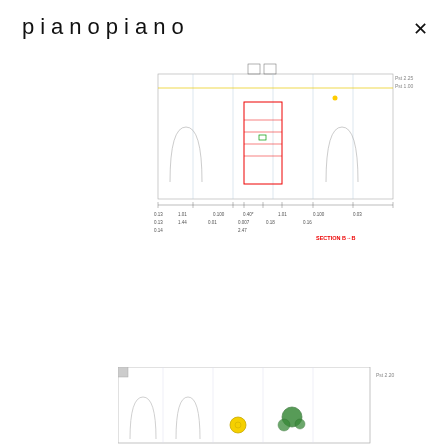pianopiano
[Figure (engineering-diagram): Architectural section drawing (Section B-B) showing interior elevation with rooms, doors, and dimension annotations. Dimensions shown in meters. Red outline highlights central section. Labels include 'SECTION B-B' in red.]
[Figure (engineering-diagram): Architectural floor plan showing a partial top-down view of a building layout with rooms, walls, and colored furniture/fixture symbols (yellow circle, green figure). Scale annotation visible at right.]